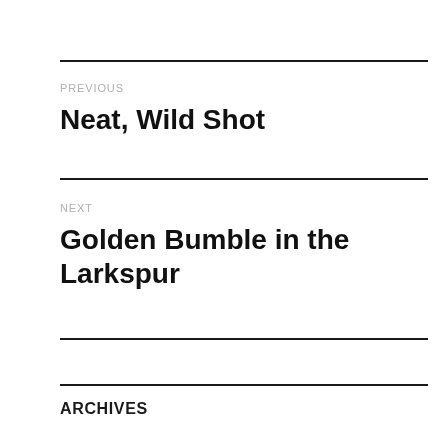PREVIOUS
Neat, Wild Shot
NEXT
Golden Bumble in the Larkspur
ARCHIVES